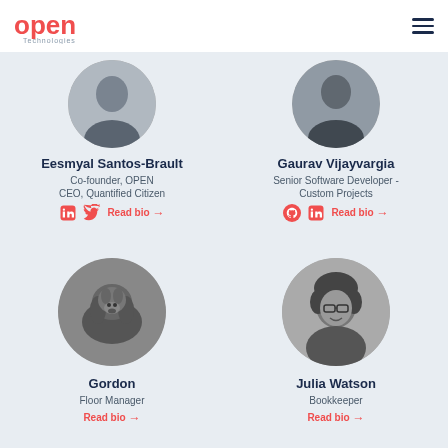[Figure (logo): OPEN Technologies logo in red/pink color]
Eesmyal Santos-Brault
Co-founder, OPEN
CEO, Quantified Citizen
Read bio →
Gaurav Vijayvargia
Senior Software Developer - Custom Projects
Read bio →
[Figure (photo): Circular black and white photo of a dog (Gordon)]
Gordon
Floor Manager
Read bio →
[Figure (photo): Circular black and white photo of Julia Watson, a woman with curly hair and glasses]
Julia Watson
Bookkeeper
Read bio →